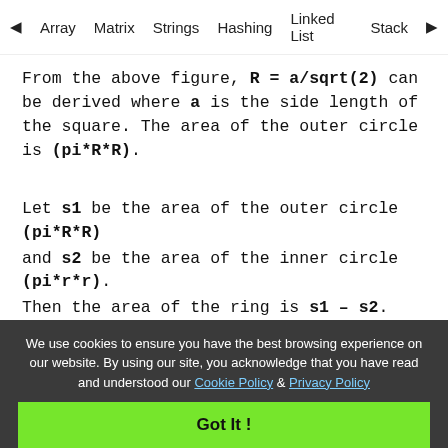◀ Array   Matrix   Strings   Hashing   Linked List   Stack ▶
From the above figure, R = a/sqrt(2) can be derived where a is the side length of the square. The area of the outer circle is (pi*R*R).
Let s1 be the area of the outer circle (pi*R*R) and s2 be the area of the inner circle (pi*r*r). Then the area of the ring is s1 – s2. Below is the implementation of the above approach:
We use cookies to ensure you have the best browsing experience on our website. By using our site, you acknowledge that you have read and understood our Cookie Policy & Privacy Policy
Got It !